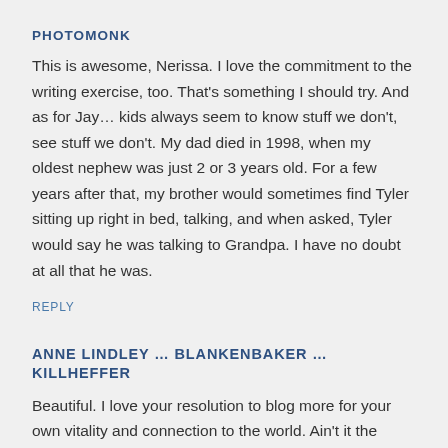PHOTOMONK
This is awesome, Nerissa. I love the commitment to the writing exercise, too. That's something I should try. And as for Jay… kids always seem to know stuff we don't, see stuff we don't. My dad died in 1998, when my oldest nephew was just 2 or 3 years old. For a few years after that, my brother would sometimes find Tyler sitting up right in bed, talking, and when asked, Tyler would say he was talking to Grandpa. I have no doubt at all that he was.
REPLY
ANNE LINDLEY … BLANKENBAKER … KILLHEFFER
Beautiful. I love your resolution to blog more for your own vitality and connection to the world. Ain't it the